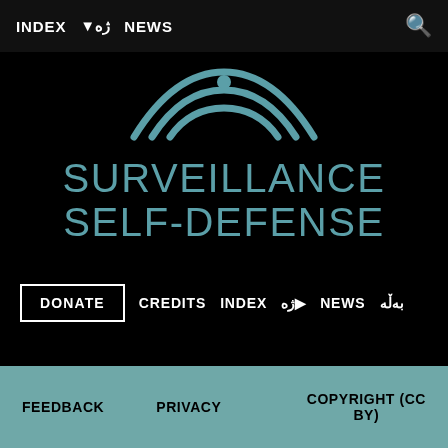INDEX  ژە  NEWS
[Figure (logo): Surveillance Self-Defense logo with teal wave/eye icon above the text SURVEILLANCE SELF-DEFENSE in teal letters on black background]
DONATE  CREDITS  INDEX  ژە  NEWS  بەڵه
FEEDBACK  PRIVACY  COPYRIGHT (CC BY)